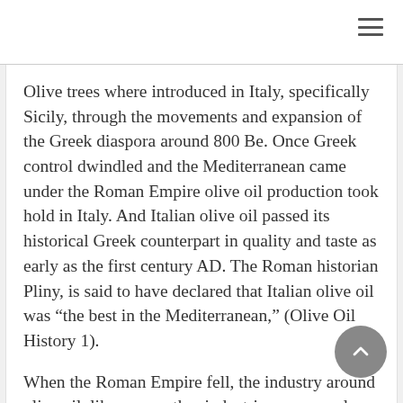Olive trees where introduced in Italy, specifically Sicily, through the movements and expansion of the Greek diaspora around 800 Be. Once Greek control dwindled and the Mediterranean came under the Roman Empire olive oil production took hold in Italy. And Italian olive oil passed its historical Greek counterpart in quality and taste as early as the first century AD. The Roman historian Pliny, is said to have declared that Italian olive oil was “the best in the Mediterranean,” (Olive Oil History 1).
When the Roman Empire fell, the industry around olive oil, like many other industries, was nearly destroyed. Olive cultivation suffered huge declines, and the Barbarian invasions brought butter into an area of the world that had untlll